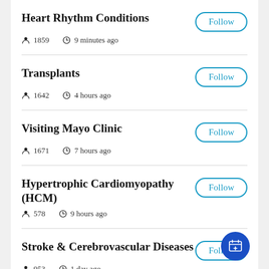Heart Rhythm Conditions | Follow | 1859 | 9 minutes ago
Transplants | Follow | 1642 | 4 hours ago
Visiting Mayo Clinic | Follow | 1671 | 7 hours ago
Hypertrophic Cardiomyopathy (HCM) | Follow | 578 | 9 hours ago
Stroke & Cerebrovascular Diseases | Follow | 953 | 1 day ago